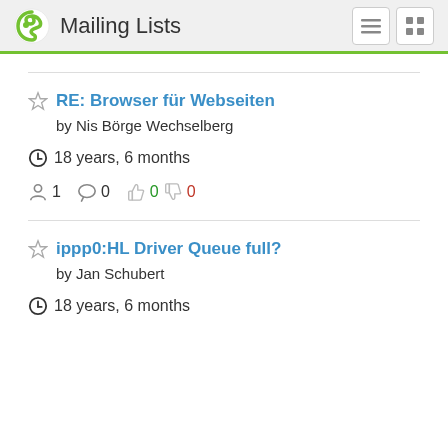Mailing Lists
RE: Browser für Webseiten
by Nis Börge Wechselberg
18 years, 6 months
1 subscriber, 0 comments, 0 likes, 0 dislikes
ippp0:HL Driver Queue full?
by Jan Schubert
18 years, 6 months